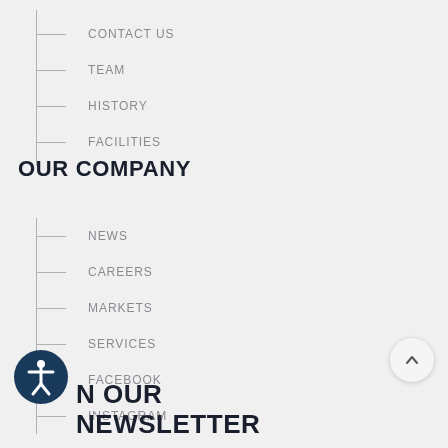CONTACT US
TEAM
HISTORY
FACILITIES
OUR COMPANY
NEWS
CAREERS
MARKETS
SERVICES
FACEBOOK
INSTAGRAM
N OUR NEWSLETTER